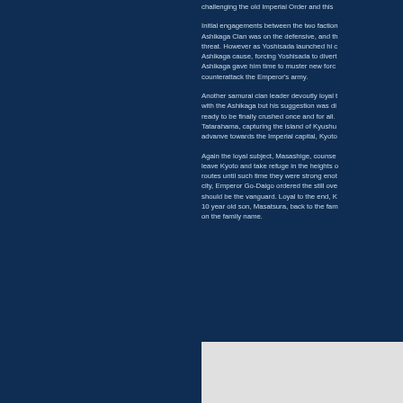challenging the old Imperial Order and this
Initial engagements between the two faction Ashikaga Clan was on the defensive, and th threat. However as Yoshisada launched hi c Ashikaga cause, forcing Yoshisada to divert Ashikaga gave him time to muster new forc counterattack the Emperor's army.
Another samurai clan leader devoutly loyal t with the Ashikaga but his suggestion was di ready to be finally crushed once and for all. Tatarahama, capturing the island of Kyushu advanve towards the Imperial capital, Kyoto
Again the loyal subject, Masashige, counse leave Kyoto and take refuge in the heights o routes until such time they were strong enot city, Emperor Go-Daigo ordered the still ove should be the vanguard. Loyal to the end, K 10 year old son, Masatsura, back to the fam on the family name.
[Figure (photo): Partial image at bottom of page, light colored background]